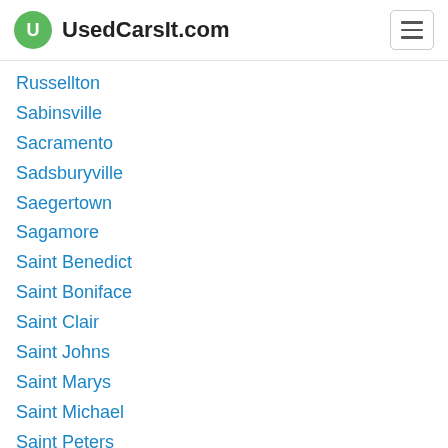UsedCarsIt.com
Russellton
Sabinsville
Sacramento
Sadsburyville
Saegertown
Sagamore
Saint Benedict
Saint Boniface
Saint Clair
Saint Johns
Saint Marys
Saint Michael
Saint Peters
Saint Petersburg
Saint Thomas
Salford